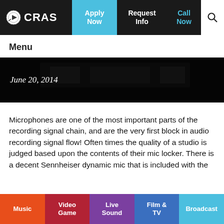CRAS | Apply Now | Request Info | Call Now
Menu
[Figure (photo): Dark banner image with date overlay showing recording studio or equipment]
June 20, 2014
Microphones are one of the most important parts of the recording signal chain, and are the very first block in audio recording signal flow! Often times the quality of a studio is judged based upon the contents of their mic locker. There is a decent Sennheiser dynamic mic that is included with the
Music | Video Game | Live Sound | Film & TV | Broadcast